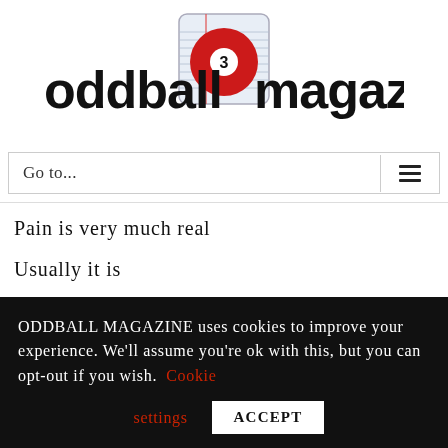[Figure (logo): Oddball Magazine logo: text 'oddball magazine' in bold black with a red billiard ball (number 3) integrated into the text, set against a notebook-paper style background square]
Go to...
Pain is very much real
Usually it is
In my heart
ODDBALL MAGAZINE uses cookies to improve your experience. We'll assume you're ok with this, but you can opt-out if you wish. Cookie settings ACCEPT